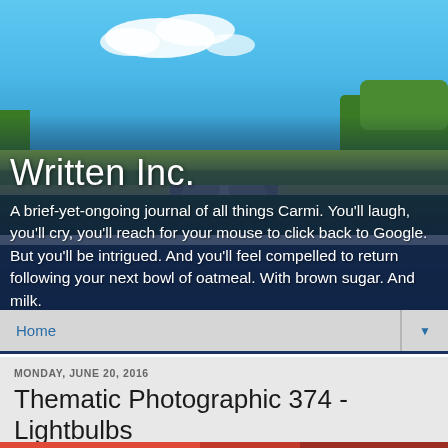[Figure (photo): Hero banner photo showing a road scene with blue sky, white clouds, green trees and fields, used as website header background.]
Written Inc.
A brief-yet-ongoing journal of all things Carmi. You'll laugh, you'll cry, you'll reach for your mouse to click back to Google. But you'll be intrigued. And you'll feel compelled to return following your next bowl of oatmeal. With brown sugar. And milk.
Home
MONDAY, JUNE 20, 2016
Thematic Photographic 374 - Lightbulbs
[Figure (photo): Partial view of a reddish image at the bottom of the page.]